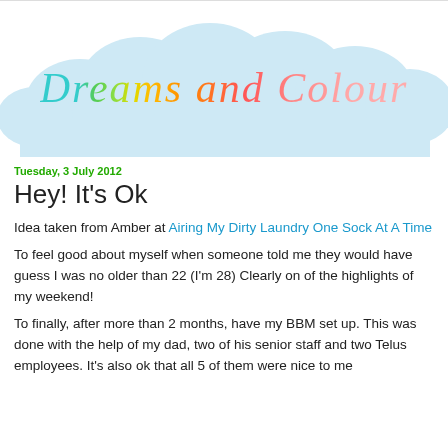[Figure (illustration): Blog header banner with a light blue cloud shape and the text 'Dreams and Colour' in a rainbow-coloured cursive/script font]
Tuesday, 3 July 2012
Hey! It's Ok
Idea taken from Amber at Airing My Dirty Laundry One Sock At A Time
To feel good about myself when someone told me they would have guess I was no older than 22 (I'm 28) Clearly on of the highlights of my weekend!
To finally, after more than 2 months, have my BBM set up. This was done with the help of my dad, two of his senior staff and two Telus employees. It's also ok that all 5 of them were nice to me